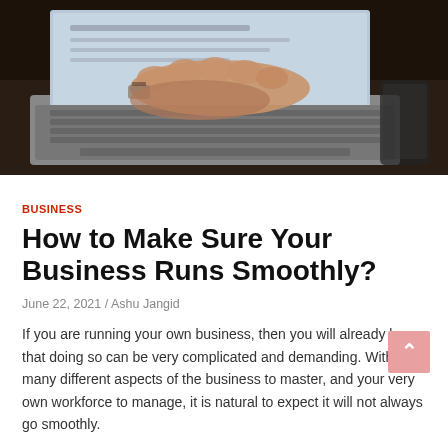[Figure (photo): Person's hands typing on a laptop keyboard, viewed from above, dark background, watch visible on wrist]
BUSINESS
How to Make Sure Your Business Runs Smoothly?
June 22, 2021 / Ashu Jangid
If you are running your own business, then you will already know that doing so can be very complicated and demanding. With so many different aspects of the business to master, and your very own workforce to manage, it is natural to expect it will not always go smoothly.
Making sure that your business runs as smoothly as possible will help you to stay on track and work towards your goals.